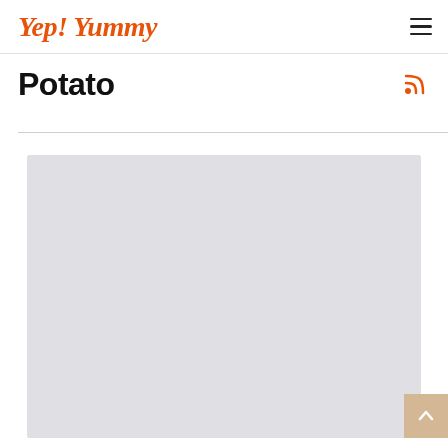Yep! Yummy
Potato
[Figure (photo): Large light gray image placeholder area for a potato-related photo on the Yep! Yummy website]